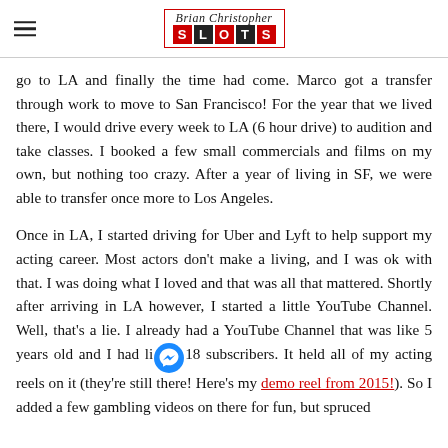Brian Christopher SLOTS
go to LA and finally the time had come. Marco got a transfer through work to move to San Francisco! For the year that we lived there, I would drive every week to LA (6 hour drive) to audition and take classes. I booked a few small commercials and films on my own, but nothing too crazy. After a year of living in SF, we were able to transfer once more to Los Angeles.
Once in LA, I started driving for Uber and Lyft to help support my acting career. Most actors don't make a living, and I was ok with that. I was doing what I loved and that was all that mattered. Shortly after arriving in LA however, I started a little YouTube Channel. Well, that's a lie. I already had a YouTube Channel that was like 5 years old and I had like 18 subscribers. It held all of my acting reels on it (they're still there! Here's my demo reel from 2015!). So I added a few gambling videos on there for fun, but spruced